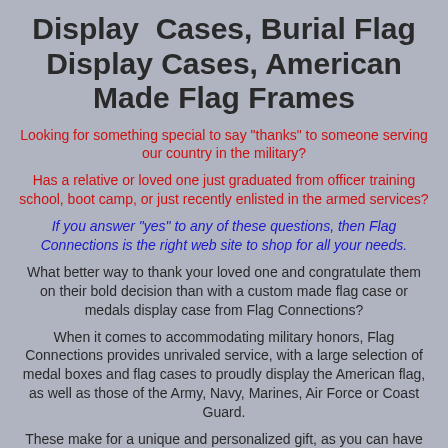Display Cases, Burial Flag Display Cases, American Made Flag Frames
Looking for something special to say "thanks" to someone serving our country in the military?
Has a relative or loved one just graduated from officer training school, boot camp, or just recently enlisted in the armed services?
If you answer "yes" to any of these questions, then Flag Connections is the right web site to shop for all your needs.
What better way to thank your loved one and congratulate them on their bold decision than with a custom made flag case or medals display case from Flag Connections?
When it comes to accommodating military honors, Flag Connections provides unrivaled service, with a large selection of medal boxes and flag cases to proudly display the American flag, as well as those of the Army, Navy, Marines, Air Force or Coast Guard.
These make for a unique and personalized gift, as you can have the case engraved specifically to honor your special loved one.